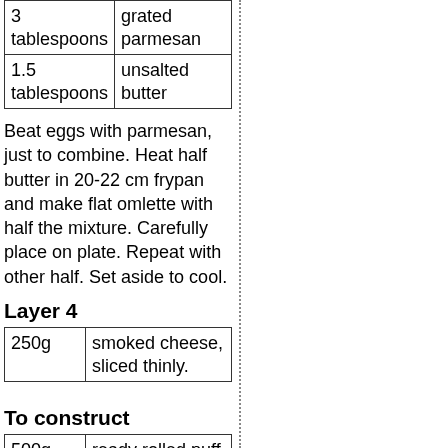| 3 tablespoons | grated parmesan |
| 1.5 tablespoons | unsalted butter |
Beat eggs with parmesan, just to combine. Heat half butter in 20-22 cm frypan and make flat omlette with half the mixture. Carefully place on plate. Repeat with other half. Set aside to cool.
Layer 4
| 250g | smoked cheese, sliced thinly. |
To construct
| 500g | ready rolled puff pastry |